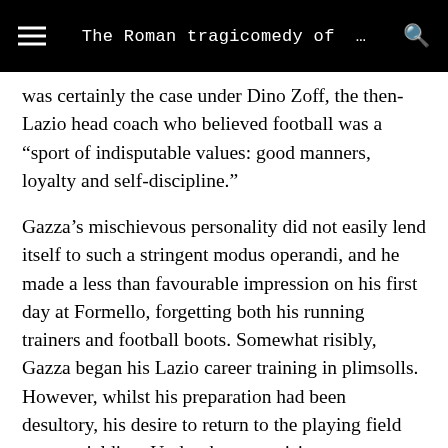The Roman tragicomedy of …
was certainly the case under Dino Zoff, the then-Lazio head coach who believed football was a “sport of indisputable values: good manners, loyalty and self-discipline.”
Gazza’s mischievous personality did not easily lend itself to such a stringent modus operandi, and he made a less than favourable impression on his first day at Formello, forgetting both his running trainers and football boots. Somewhat risibly, Gazza began his Lazio career training in plimsolls. However, whilst his preparation had been desultory, his desire to return to the playing field was unyielding. Under the supervision